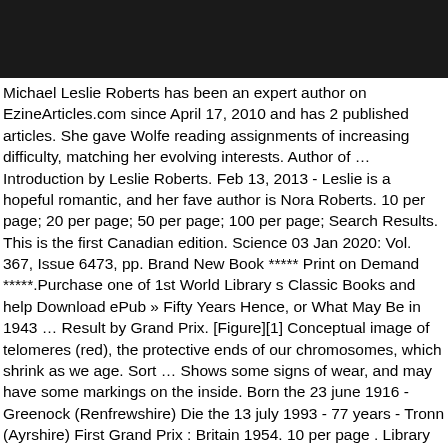[Figure (other): Black header bar at top of page]
Michael Leslie Roberts has been an expert author on EzineArticles.com since April 17, 2010 and has 2 published articles. She gave Wolfe reading assignments of increasing difficulty, matching her evolving interests. Author of … Introduction by Leslie Roberts. Feb 13, 2013 - Leslie is a hopeful romantic, and her fave author is Nora Roberts. 10 per page; 20 per page; 50 per page; 100 per page; Search Results. This is the first Canadian edition. Science 03 Jan 2020: Vol. 367, Issue 6473, pp. Brand New Book ***** Print on Demand *****.Purchase one of 1st World Library s Classic Books and help Download ePub » Fifty Years Hence, or What May Be in 1943 … Result by Grand Prix. [Figure][1] Conceptual image of telomeres (red), the protective ends of our chromosomes, which shrink as we age. Sort … Shows some signs of wear, and may have some markings on the inside. Born the 23 june 1916 - Greenock (Renfrewshire) Die the 13 july 1993 - 77 years - Tronn (Ayrshire) First Grand Prix : Britain 1954. 10 per page . Library Search. George Beurling, Leslie Roberts. Ships from the UK. Book Condition: New. Vkontakte. Boy on the Train is a 38,000 word standalone new adult friends to lovers romance from USA Today bestselling author Leslie